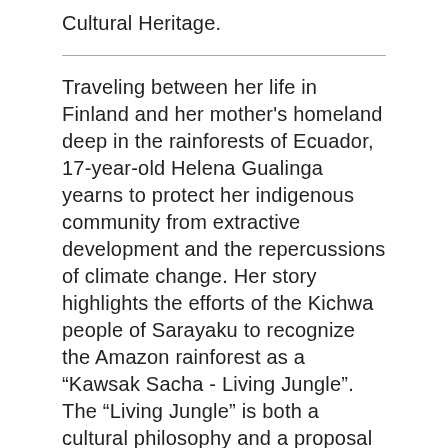Cultural Heritage.
Traveling between her life in Finland and her mother's homeland deep in the rainforests of Ecuador, 17-year-old Helena Gualinga yearns to protect her indigenous community from extractive development and the repercussions of climate change. Her story highlights the efforts of the Kichwa people of Sarayaku to recognize the Amazon rainforest as a “Kawsak Sacha - Living Jungle”. The “Living Jungle” is both a cultural philosophy and a proposal to governments that states the rainforest is not a resource to be used, rather it is a living and conscious entity in need of legal protection. With the help of her Sarayaku elders’ wisdom, Helena sets out on a journey to educate the world about the importance of conserving the Amazon Rainforest, traveling to New York City to participate in climate marches and giving speeches about indigenous sovereignty. A story of